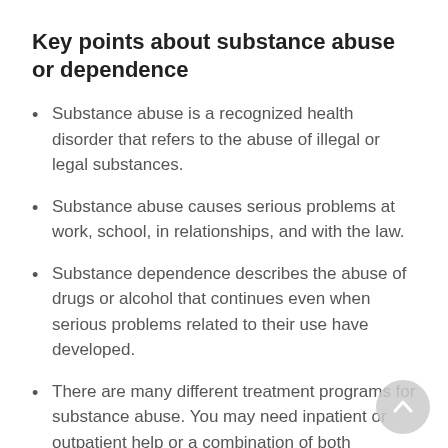Key points about substance abuse or dependence
Substance abuse is a recognized health disorder that refers to the abuse of illegal or legal substances.
Substance abuse causes serious problems at work, school, in relationships, and with the law.
Substance dependence describes the abuse of drugs or alcohol that continues even when serious problems related to their use have developed.
There are many different treatment programs for substance abuse. You may need inpatient or outpatient help or a combination of both